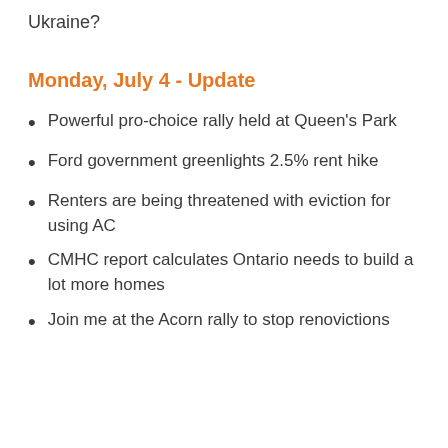Ukraine?
Monday, July 4 - Update
Powerful pro-choice rally held at Queen's Park
Ford government greenlights 2.5% rent hike
Renters are being threatened with eviction for using AC
CMHC report calculates Ontario needs to build a lot more homes
Join me at the Acorn rally to stop renovictions